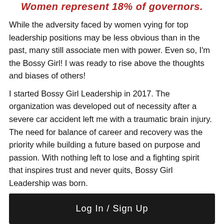Women represent 18% of governors.
While the adversity faced by women vying for top leadership positions may be less obvious than in the past, many still associate men with power.  Even so, I'm the Bossy Girl!  I was ready to rise above the thoughts and biases of others!
I started Bossy Girl Leadership in 2017.  The organization was developed out of necessity after a severe car accident left me with a traumatic brain injury.  The need for balance of career and recovery was the priority while building a future based on purpose and passion. With nothing left to lose and a fighting spirit that inspires trust and never quits, Bossy Girl Leadership was born.
[Figure (screenshot): Log In / Sign Up button — dark/black background with white text]
English language so it is no longer used as a tool to